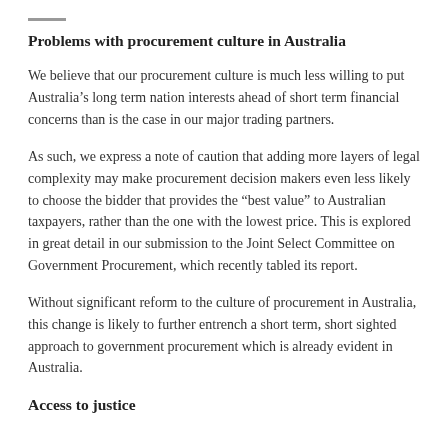Problems with procurement culture in Australia
We believe that our procurement culture is much less willing to put Australia’s long term nation interests ahead of short term financial concerns than is the case in our major trading partners.
As such, we express a note of caution that adding more layers of legal complexity may make procurement decision makers even less likely to choose the bidder that provides the “best value” to Australian taxpayers, rather than the one with the lowest price. This is explored in great detail in our submission to the Joint Select Committee on Government Procurement, which recently tabled its report.
Without significant reform to the culture of procurement in Australia, this change is likely to further entrench a short term, short sighted approach to government procurement which is already evident in Australia.
Access to justice